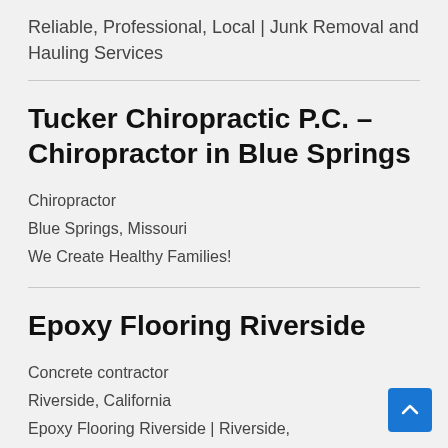Reliable, Professional, Local | Junk Removal and Hauling Services
Tucker Chiropractic P.C. – Chiropractor in Blue Springs
Chiropractor
Blue Springs, Missouri
We Create Healthy Families!
Epoxy Flooring Riverside
Concrete contractor
Riverside, California
Epoxy Flooring Riverside | Riverside,